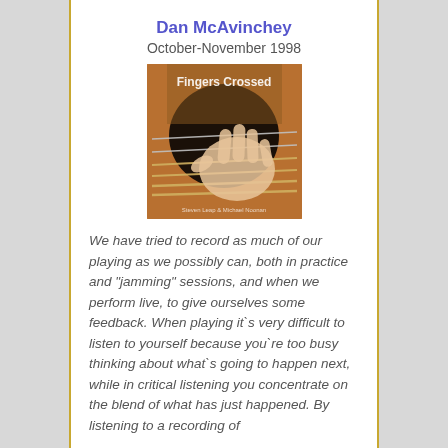Dan McAvinchey
October-November 1998
[Figure (photo): Album cover for 'Fingers Crossed' showing a hand on guitar strings with text 'Fingers Crossed' at top and artist names at bottom]
We have tried to record as much of our playing as we possibly can, both in practice and "jamming" sessions, and when we perform live, to give ourselves some feedback. When playing it`s very difficult to listen to yourself because you`re too busy thinking about what`s going to happen next, while in critical listening you concentrate on the blend of what has just happened. By listening to a recording of